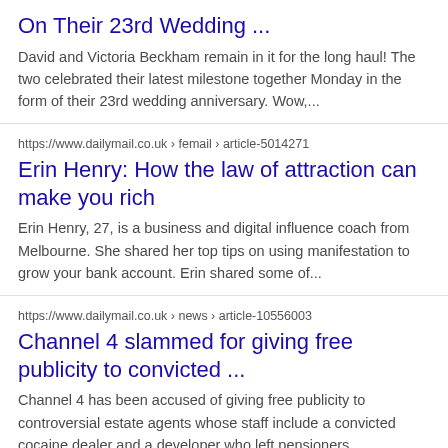On Their 23rd Wedding ...
David and Victoria Beckham remain in it for the long haul! The two celebrated their latest milestone together Monday in the form of their 23rd wedding anniversary. Wow,...
https://www.dailymail.co.uk › femail › article-5014271
Erin Henry: How the law of attraction can make you rich
Erin Henry, 27, is a business and digital influence coach from Melbourne. She shared her top tips on using manifestation to grow your bank account. Erin shared some of...
https://www.dailymail.co.uk › news › article-10556003
Channel 4 slammed for giving free publicity to convicted ...
Channel 4 has been accused of giving free publicity to controversial estate agents whose staff include a convicted cocaine dealer and a developer who left pensioners...